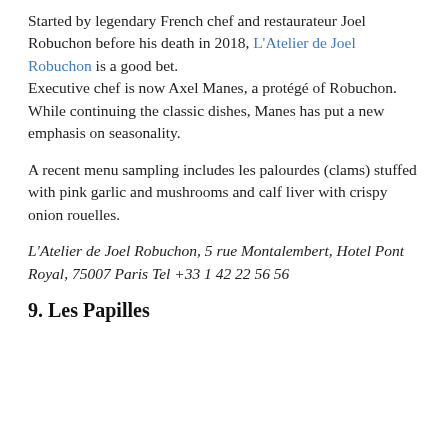Started by legendary French chef and restaurateur Joel Robuchon before his death in 2018, L'Atelier de Joel Robuchon is a good bet. Executive chef is now Axel Manes, a protégé of Robuchon. While continuing the classic dishes, Manes has put a new emphasis on seasonality.
A recent menu sampling includes les palourdes (clams) stuffed with pink garlic and mushrooms and calf liver with crispy onion rouelles.
L'Atelier de Joel Robuchon, 5 rue Montalembert, Hotel Pont Royal, 75007 Paris Tel +33 1 42 22 56 56
9. Les Papilles